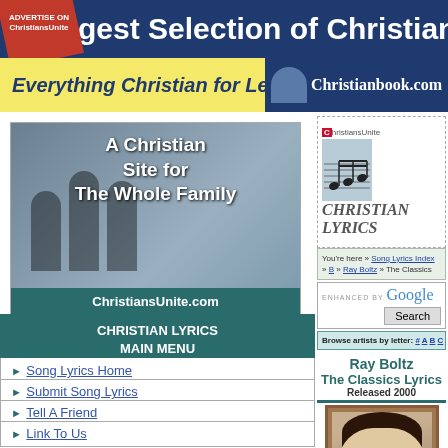[Figure (screenshot): ChristiansUnite website header banner: 'Largest Selection of Christian Products on the Web' with 'Everything Christian for Less! Christianbook.com' below and an 'Advertise on ChristiansUnite' badge]
[Figure (screenshot): Left sidebar with ChristiansUnite.com 'A Christian Site for The Whole Family' banner image]
CHRISTIAN LYRICS MAIN MENU
Song Lyrics Home
Submit Song Lyrics
Tell A Friend
Link To Us
[Figure (logo): ChristiansUnite CHRISTIAN LYRICS logo with musical notes]
You're here » Song Lyrics Index » B » Ray Boltz » The Classics
ENHANCED BY Google Search
Browse artists by letter: # A B C D E F G H I J K L
Ray Boltz
The Classics Lyrics
Released 2000
[Figure (photo): Album cover art for Ray Boltz The Classics showing a portrait illustration of a man's face]